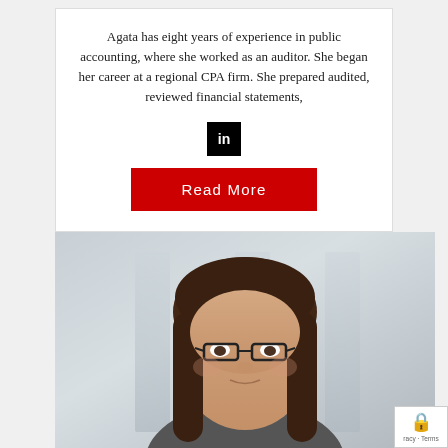Agata has eight years of experience in public accounting, where she worked as an auditor. She began her career at a regional CPA firm. She prepared audited, reviewed financial statements,
[Figure (logo): LinkedIn icon - black square with white 'in' text]
[Figure (other): Red 'Read More' button]
[Figure (photo): Professional headshot photo of a woman with long dark brown hair and glasses, blurred office background]